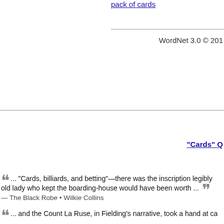pack of cards
WordNet 3.0 © 20...
"Cards" Q...
This website uses cookies to ensure you get the best experience on our website. Learn more
Got it!
... "Cards, billiards, and betting"—there was the inscription legibly old lady who kept the boarding-house would have been worth ... — The Black Robe • Wilkie Collins
... and the Count La Ruse, in Fielding's narrative, took a hand at ca...